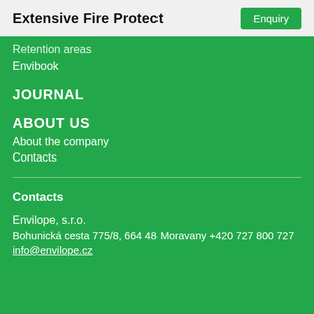Extensive Fire Protect | Enquiry
Retention areas
Envibook
JOURNAL
ABOUT US
About the company
Contacts
Contacts
Envilope, s.r.o.
Bohunická cesta 775/8, 664 48 Moravany +420 727 800 727
info@envilope.cz